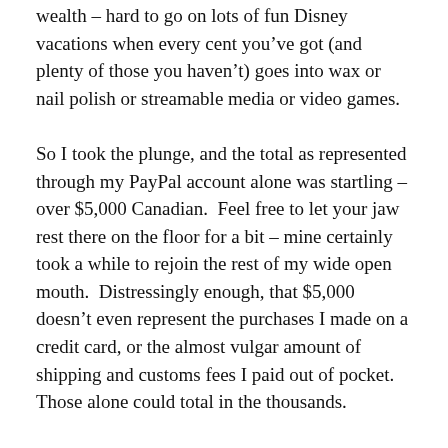wealth – hard to go on lots of fun Disney vacations when every cent you've got (and plenty of those you haven't) goes into wax or nail polish or streamable media or video games.
So I took the plunge, and the total as represented through my PayPal account alone was startling – over $5,000 Canadian.  Feel free to let your jaw rest there on the floor for a bit – mine certainly took a while to rejoin the rest of my wide open mouth.  Distressingly enough, that $5,000 doesn't even represent the purchases I made on a credit card, or the almost vulgar amount of shipping and customs fees I paid out of pocket.  Those alone could total in the thousands.
So yes, this was a hugely unflattering look into last year's apparent total abdication of financial responsibility, a state we're only now emerging from thanks to a lot of